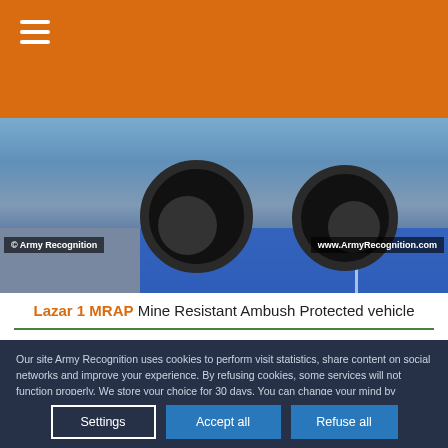≡ (hamburger menu)
[Figure (photo): Bottom portion of Lazar 1 MRAP vehicle showing wheels on a blue exhibition floor. Watermarks: '© Army Recognition' on left and 'www.ArmyRecognition.com' on right.]
Lazar 1 MRAP Mine Resistant Ambush Protected vehicle
Our site Army Recognition uses cookies to perform visit statistics, share content on social networks and improve your experience. By refusing cookies, some services will not function properly. We store your choice for 30 days. You can change your mind by clicking on the 'Cookies' button at the bottom left of every page of our site. Learn more